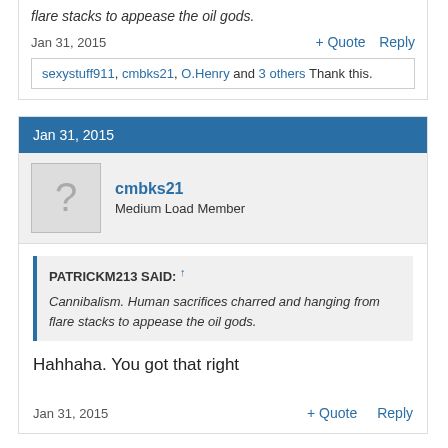flare stacks to appease the oil gods.
Jan 31, 2015
+ Quote   Reply
sexystuff911, cmbks21, O.Henry and 3 others Thank this.
Jan 31, 2015
cmbks21
Medium Load Member
PATRICKM213 SAID: ↑
Cannibalism. Human sacrifices charred and hanging from flare stacks to appease the oil gods.
Hahhaha. You got that right
Jan 31, 2015
+ Quote   Reply
Sponsored - Featured Review